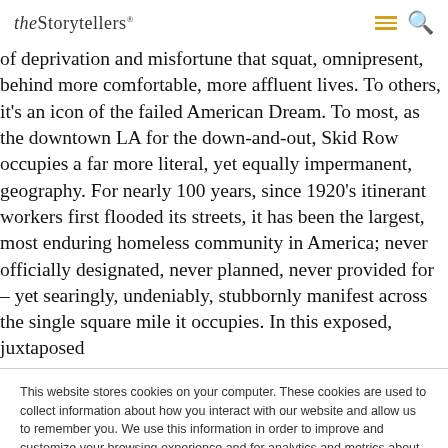theStorytellers
of deprivation and misfortune that squat, omnipresent, behind more comfortable, more affluent lives. To others, it's an icon of the failed American Dream. To most, as the downtown LA for the down-and-out, Skid Row occupies a far more literal, yet equally impermanent, geography. For nearly 100 years, since 1920's itinerant workers first flooded its streets, it has been the largest, most enduring homeless community in America; never officially designated, never planned, never provided for – yet searingly, undeniably, stubbornly manifest across the single square mile it occupies. In this exposed, juxtaposed
This website stores cookies on your computer. These cookies are used to collect information about how you interact with our website and allow us to remember you. We use this information in order to improve and customize your browsing experience and for analytics and metrics about our visitors both on this website and other media. To find out more about the cookies we use, see our Privacy Policy.
Accept
Don't ask me again